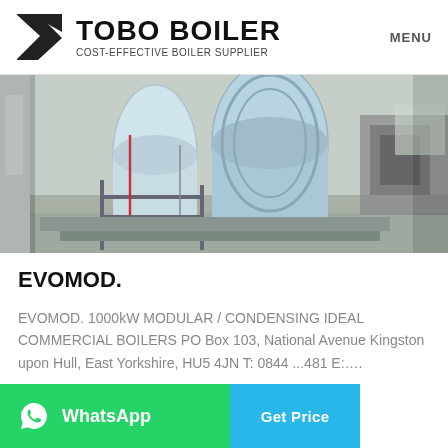TOBO BOILER COST-EFFECTIVE BOILER SUPPLIER MENU
[Figure (photo): Industrial boiler equipment in a facility — large cylindrical blue/white boilers on metal frames with piping and controls visible]
EVOMOD.
EVOMOD. 1000kW MODULAR / CONDENSING IDEAL COMMERCIAL BOILERS PO Box 103, National Avenue Kingston upon Hull, East Yorkshire, HU5 4JN T: 0844 ...481 E:....
[Figure (logo): WhatsApp button (green) and Get Price button (blue)]